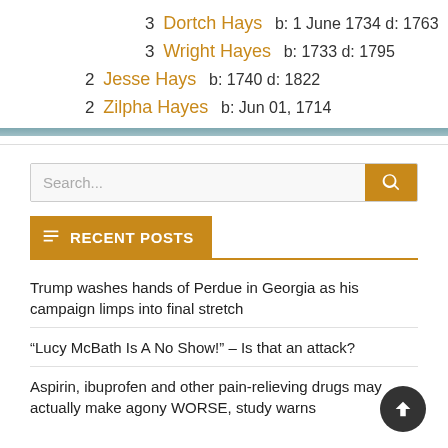3 Dortch Hays    b: 1 June 1734 d: 1763
3 Wright Hayes    b: 1733 d: 1795
2 Jesse Hays    b: 1740 d: 1822
2 Zilpha Hayes    b: Jun 01, 1714
Search...
RECENT POSTS
Trump washes hands of Perdue in Georgia as his campaign limps into final stretch
“Lucy McBath Is A No Show!” – Is that an attack?
Aspirin, ibuprofen and other pain-relieving drugs may actually make agony WORSE, study warns